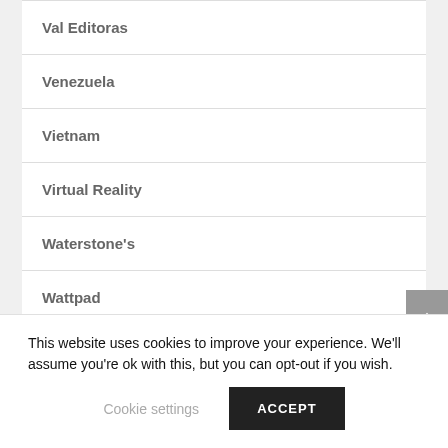Val Editoras
Venezuela
Vietnam
Virtual Reality
Waterstone's
Wattpad
Zambia
This website uses cookies to improve your experience. We'll assume you're ok with this, but you can opt-out if you wish.
Cookie settings
ACCEPT